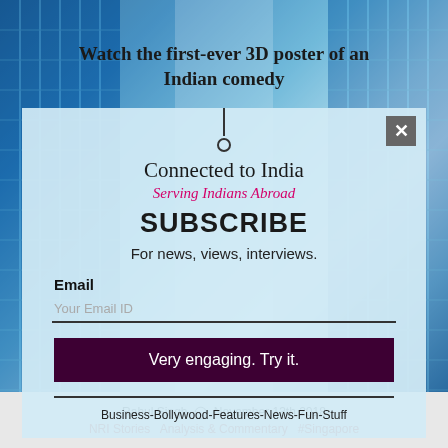Watch the first-ever 3D poster of an Indian comedy
[Figure (screenshot): Subscribe modal overlay on a webpage with building/architecture background. Modal contains 'Connected to India', 'Serving Indians Abroad', 'SUBSCRIBE', 'For news, views, interviews.', email input, and 'Very engaging. Try it.' button.]
Connected to India
Serving Indians Abroad
SUBSCRIBE
For news, views, interviews.
Email
Your Email ID
Very engaging. Try it.
Business-Bollywood-Features-News-Fun-Stuff
Rahul Singh  November 13th 2018
NRI Stories  Analysis & Commentary  #Singapore